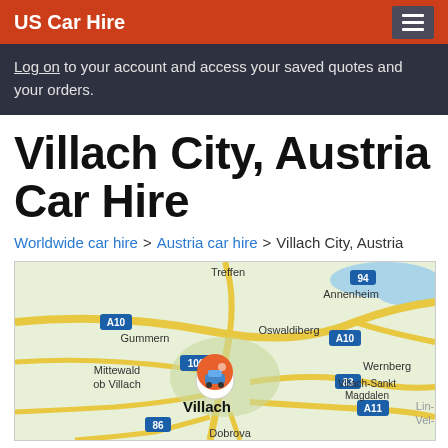US Car Hire
Log on to your account and access your saved quotes and your orders.
Villach City, Austria Car Hire
Worldwide car hire > Austria car hire > Villach City, Austria
[Figure (map): Google Maps view of Villach, Austria showing surrounding areas including Treffen, Annenheim, Gummern, Oswaldiberg, Mittewald ob Villach, Wernberg, Villach-Sankt Magdalen, with road labels A10, A11, 94, 100, 86, 83 and a car hire pin marker over Villach city center]